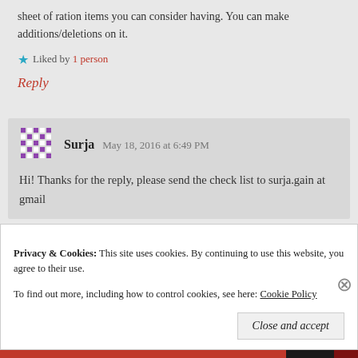sheet of ration items you can consider having. You can make additions/deletions on it.
Liked by 1 person
Reply
Surja  May 18, 2016 at 6:49 PM
Hi! Thanks for the reply, please send the check list to surja.gain at gmail
Privacy & Cookies: This site uses cookies. By continuing to use this website, you agree to their use. To find out more, including how to control cookies, see here: Cookie Policy
Close and accept